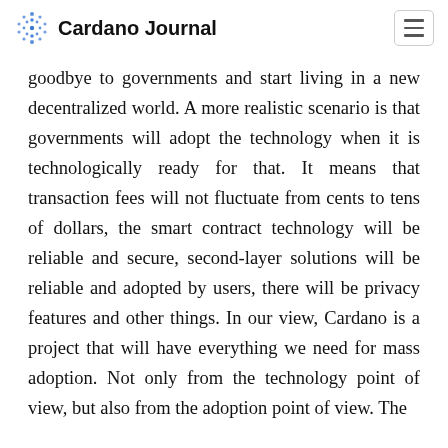Cardano Journal
goodbye to governments and start living in a new decentralized world. A more realistic scenario is that governments will adopt the technology when it is technologically ready for that. It means that transaction fees will not fluctuate from cents to tens of dollars, the smart contract technology will be reliable and secure, second-layer solutions will be reliable and adopted by users, there will be privacy features and other things. In our view, Cardano is a project that will have everything we need for mass adoption. Not only from the technology point of view, but also from the adoption point of view. The